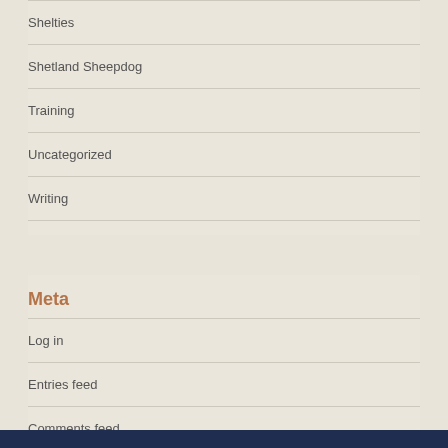Shelties
Shetland Sheepdog
Training
Uncategorized
Writing
Meta
Log in
Entries feed
Comments feed
WordPress.org